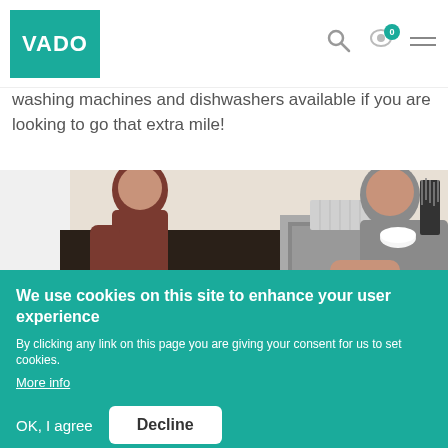[Figure (logo): VADO brand logo — white text on teal/green square background]
[Figure (infographic): Header navigation icons: search magnifier, cart with badge showing 0, hamburger menu]
washing machines and dishwashers available if you are looking to go that extra mile!
[Figure (photo): Two people loading a dishwasher in a modern dark kitchen with a stainless steel sink and kitchen accessories on the counter]
We use cookies on this site to enhance your user experience
By clicking any link on this page you are giving your consent for us to set cookies. More info
OK, I agree    Decline